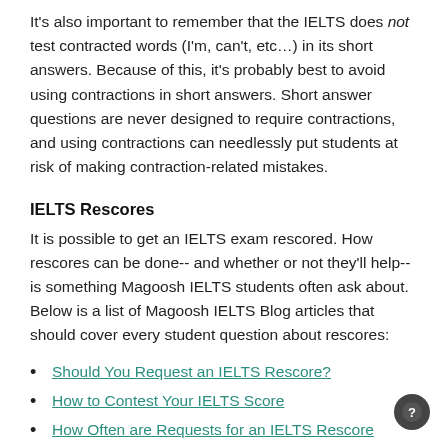It's also important to remember that the IELTS does not test contracted words (I'm, can't, etc…) in its short answers. Because of this, it's probably best to avoid using contractions in short answers. Short answer questions are never designed to require contractions, and using contractions can needlessly put students at risk of making contraction-related mistakes.
IELTS Rescores
It is possible to get an IELTS exam rescored. How rescores can be done-- and whether or not they'll help-- is something Magoosh IELTS students often ask about. Below is a list of Magoosh IELTS Blog articles that should cover every student question about rescores:
Should You Request an IELTS Rescore?
How to Contest Your IELTS Score
How Often are Requests for an IELTS Rescore Successful?